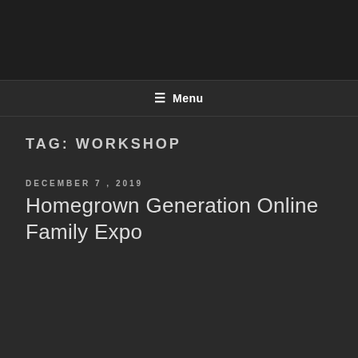☰ Menu
TAG: WORKSHOP
DECEMBER 7, 2019
Homegrown Generation Online Family Expo